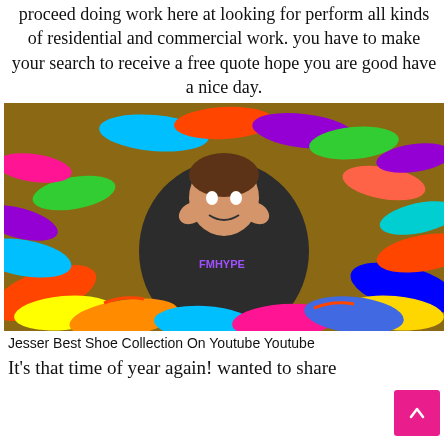proceed doing work here at looking for perform all kinds of residential and commercial work. you have to make your search to receive a free quote hope you are good have a nice day.
[Figure (photo): A young man lying among a huge pile of colorful sneakers and athletic shoes, smiling with hands on his face, wearing a black FMHYPE t-shirt]
Jesser Best Shoe Collection On Youtube Youtube
It's that time of year again! wanted to share